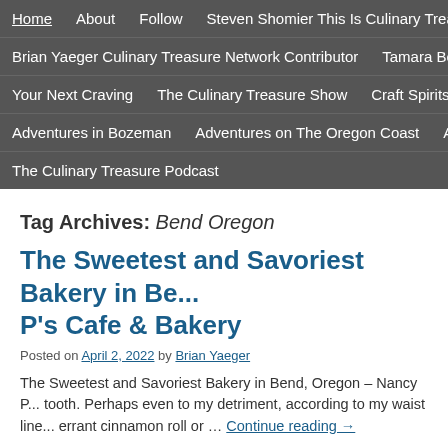Home | About | Follow | Steven Shomier This Is Culinary Treasure | Brian Yaeger Culinary Treasure Network Contributor | Tamara Belgar... | Your Next Craving | The Culinary Treasure Show | Craft Spirits Trea... | Adventures in Bozeman | Adventures on The Oregon Coast | Adver... | The Culinary Treasure Podcast
Tag Archives: Bend Oregon
The Sweetest and Savoriest Bakery in Be... P's Cafe & Bakery
Posted on April 2, 2022 by Brian Yaeger
The Sweetest and Savoriest Bakery in Bend, Oregon – Nancy P... tooth. Perhaps even to my detriment, according to my waist line... errant cinnamon roll or … Continue reading →
Posted in Bakery, Bend Oregon, Brian Yaeger, Brian Yaeger Culinary Treasure...